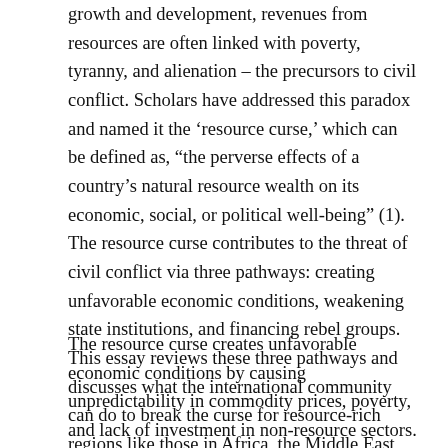growth and development, revenues from resources are often linked with poverty, tyranny, and alienation – the precursors to civil conflict. Scholars have addressed this paradox and named it the 'resource curse,' which can be defined as, "the perverse effects of a country's natural resource wealth on its economic, social, or political well-being" (1). The resource curse contributes to the threat of civil conflict via three pathways: creating unfavorable economic conditions, weakening state institutions, and financing rebel groups. This essay reviews these three pathways and discusses what the international community can do to break the curse for resource-rich regions like those in Africa, the Middle East, and Latin America.
The resource curse creates unfavorable economic conditions by causing unpredictability in commodity prices, poverty, and lack of investment in non-resource sectors. The global price of resources is highly